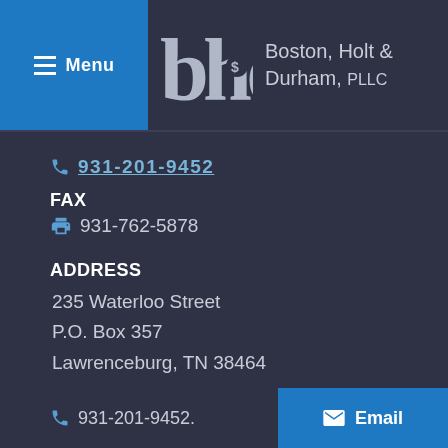Menu | Boston, Holt & Durham, PLLC
☎ 931-201-9452
FAX
🖷 931-762-5878
ADDRESS
235 Waterloo Street
P.O. Box 357
Lawrenceburg, TN 38464
📍 LAWRENCEBURG LAW OFFICE
☎ 931-201-9452.   Email